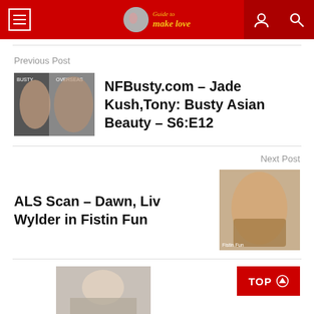Guide to make love
Previous Post
NFBusty.com – Jade Kush,Tony: Busty Asian Beauty – S6:E12
Next Post
ALS Scan – Dawn, Liv Wylder in Fistin Fun
TOP